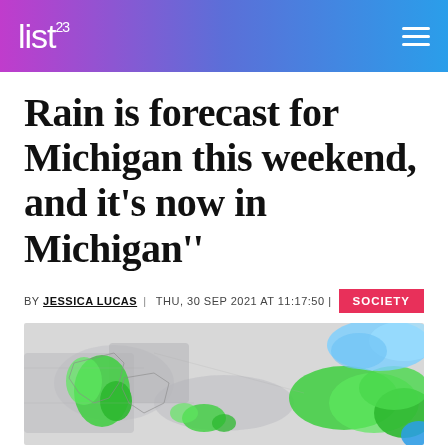list²³
Rain is forecast for Michigan this weekend, and it's now in Michigan''
BY JESSICA LUCAS | THU, 30 SEP 2021 AT 11:17:50 | SOCIETY
[Figure (map): Weather radar/forecast map showing Michigan and surrounding region with green precipitation areas and blue cloud cover in the upper right.]